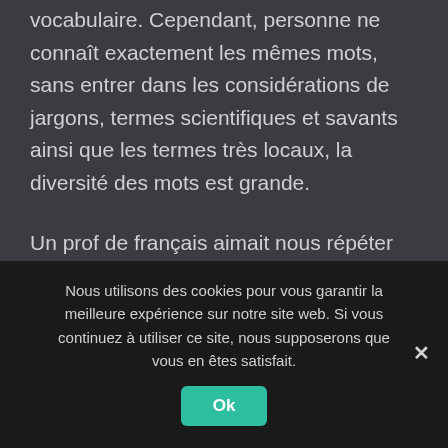vocabulaire. Cependant, personne ne connaît exactement les mêmes mots, sans entrer dans les considérations de jargons, termes scientifiques et savants ainsi que les termes très locaux, la diversité des mots est grande.

Un prof de français aimait nous répéter que dans la langue de Molière, il existe un terme précis pour chaque chose... J'ajouterai humblement qu'il en existe plusieurs pour chaque chose,
Nous utilisons des cookies pour vous garantir la meilleure expérience sur notre site web. Si vous continuez à utiliser ce site, nous supposerons que vous en êtes satisfait.
Ok